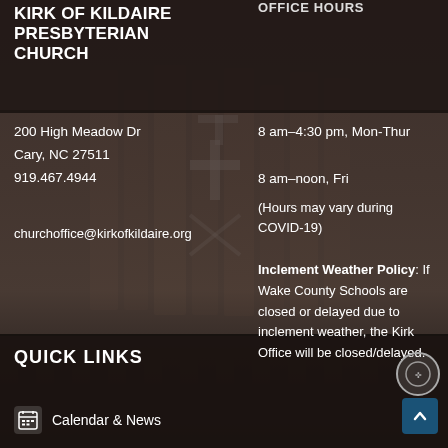KIRK OF KILDAIRE PRESBYTERIAN CHURCH
OFFICE HOURS
200 High Meadow Dr
Cary, NC 27511
919.467.4944
churchoffice@kirkofkildaire.org
8 am–4:30 pm, Mon-Thur
8 am–noon, Fri
(Hours may vary during COVID-19)
Inclement Weather Policy: If Wake County Schools are closed or delayed due to inclement weather, the Kirk Office will be closed/delayed.
QUICK LINKS
Calendar & News